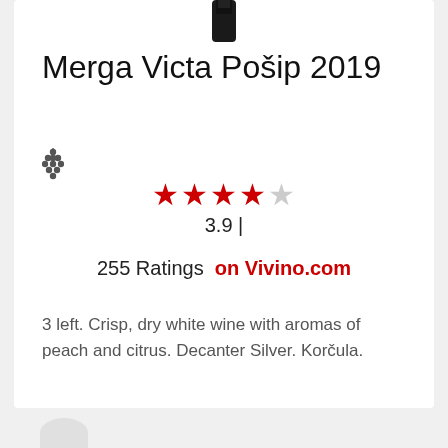[Figure (photo): Top portion of a dark wine bottle, cropped at the bottom of the image]
Merga Victa Pošip 2019
[Figure (illustration): Small grape cluster icon in dark grey]
[Figure (infographic): Star rating display: 4 filled red stars and 1 empty star, score 3.9, 255 Ratings on Vivino.com]
3 left. Crisp, dry white wine with aromas of peach and citrus. Decanter Silver. Korčula.
$29.00 / Bottle